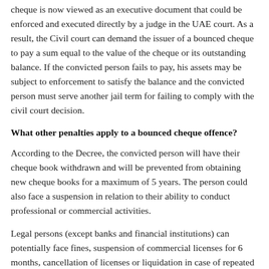cheque is now viewed as an executive document that could be enforced and executed directly by a judge in the UAE court. As a result, the Civil court can demand the issuer of a bounced cheque to pay a sum equal to the value of the cheque or its outstanding balance. If the convicted person fails to pay, his assets may be subject to enforcement to satisfy the balance and the convicted person must serve another jail term for failing to comply with the civil court decision.
What other penalties apply to a bounced cheque offence?
According to the Decree, the convicted person will have their cheque book withdrawn and will be prevented from obtaining new cheque books for a maximum of 5 years. The person could also face a suspension in relation to their ability to conduct professional or commercial activities.
Legal persons (except banks and financial institutions) can potentially face fines, suspension of commercial licenses for 6 months, cancellation of licenses or liquidation in case of repeated offences.
How are joint bank account holders affected by bounced